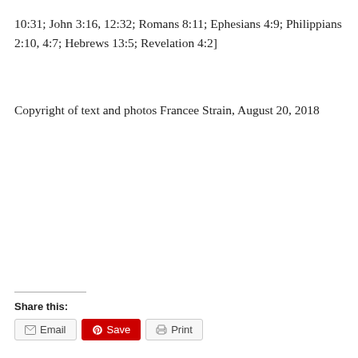10:31; John 3:16, 12:32; Romans 8:11; Ephesians 4:9; Philippians 2:10, 4:7; Hebrews 13:5; Revelation 4:2]
Copyright of text and photos Francee Strain, August 20, 2018
Share this:
Email  Save  Print